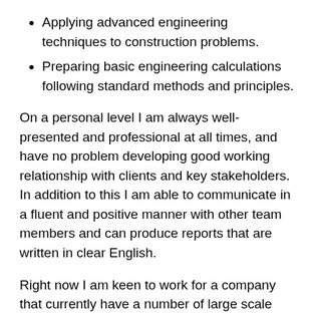Applying advanced engineering techniques to construction problems.
Preparing basic engineering calculations following standard methods and principles.
On a personal level I am always well-presented and professional at all times, and have no problem developing good working relationship with clients and key stakeholders. In addition to this I am able to communicate in a fluent and positive manner with other team members and can produce reports that are written in clear English.
Right now I am keen to work for a company that currently have a number of large scale projects underway and which is looking to take on someone straight away.
After reviewing my attached resume, please feel free